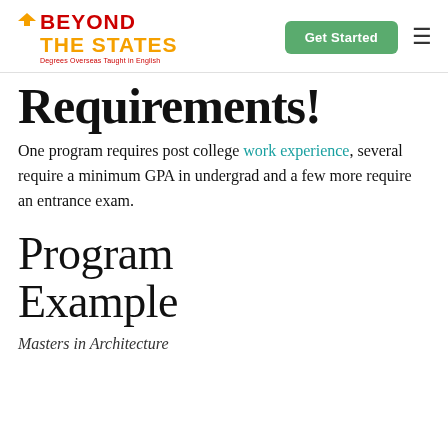[Figure (logo): Beyond The States logo — red and yellow bold text with tagline 'Degrees Overseas Taught in English']
Requirements!
One program requires post college work experience, several require a minimum GPA in undergrad and a few more require an entrance exam.
Program Example
Masters in Architecture